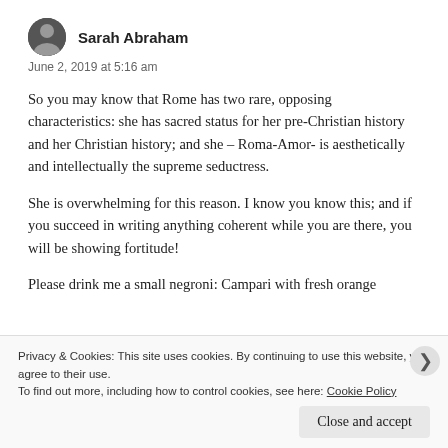Sarah Abraham
June 2, 2019 at 5:16 am
So you may know that Rome has two rare, opposing characteristics: she has sacred status for her pre-Christian history and her Christian history; and she – Roma-Amor- is aesthetically and intellectually the supreme seductress.
She is overwhelming for this reason. I know you know this; and if you succeed in writing anything coherent while you are there, you will be showing fortitude!
Please drink me a small negroni: Campari with fresh orange
Privacy & Cookies: This site uses cookies. By continuing to use this website, you agree to their use.
To find out more, including how to control cookies, see here: Cookie Policy